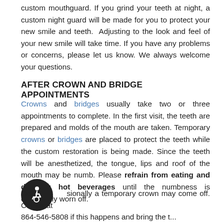custom mouthguard. If you grind your teeth at night, a custom night guard will be made for you to protect your new smile and teeth. Adjusting to the look and feel of your new smile will take time. If you have any problems or concerns, please let us know. We always welcome your questions.
AFTER CROWN AND BRIDGE APPOINTMENTS
Crowns and bridges usually take two or three appointments to complete. In the first visit, the teeth are prepared and molds of the mouth are taken. Temporary crowns or bridges are placed to protect the teeth while the custom restoration is being made. Since the teeth will be anesthetized, the tongue, lips and roof of the mouth may be numb. Please refrain from eating and drinking hot beverages until the numbness is completely worn off.
[Figure (illustration): Accessibility wheelchair icon — white wheelchair symbol on dark circular background]
Occasionally a temporary crown may come off. Call us at 864-546-5808 if this happens and bring the t...